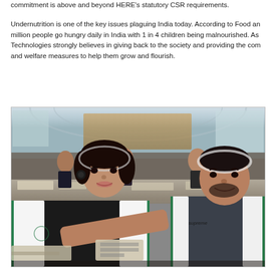commitment is above and beyond HERE's statutory CSR requirements.
Undernutrition is one of the key issues plaguing India today. According to Food and Agriculture Organization (FAO), over 190 million people go hungry daily in India with 1 in 4 children being malnourished. As part of their CSR strategy, HERE Technologies strongly believes in giving back to the society and providing the community with the necessary support and welfare measures to help them grow and flourish.
[Figure (photo): Volunteers wearing white vests and hairnets sitting at tables in a large hall, packing food items. A woman and a man are prominently in the foreground smiling at the camera, with many more volunteers visible in the background working at tables.]